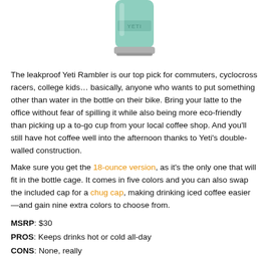[Figure (photo): Yeti Rambler water bottle in seafoam/mint green color with silver base and YETI logo on the body, shown from a partial angle (top portion visible)]
The leakproof Yeti Rambler is our top pick for commuters, cyclocross racers, college kids… basically, anyone who wants to put something other than water in the bottle on their bike. Bring your latte to the office without fear of spilling it while also being more eco-friendly than picking up a to-go cup from your local coffee shop. And you'll still have hot coffee well into the afternoon thanks to Yeti's double-walled construction.
Make sure you get the 18-ounce version, as it's the only one that will fit in the bottle cage. It comes in five colors and you can also swap the included cap for a chug cap, making drinking iced coffee easier—and gain nine extra colors to choose from.
MSRP: $30
PROS: Keeps drinks hot or cold all-day
CONS: None, really